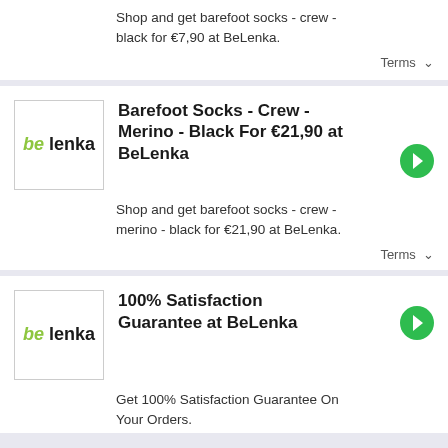Shop and get barefoot socks - crew - black for €7,90 at BeLenka.
Terms
Barefoot Socks - Crew - Merino - Black For €21,90 at BeLenka
Shop and get barefoot socks - crew - merino - black for €21,90 at BeLenka.
Terms
100% Satisfaction Guarantee at BeLenka
Get 100% Satisfaction Guarantee On Your Orders.